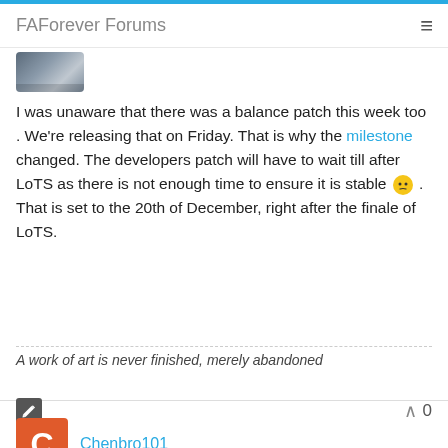FAForever Forums
[Figure (photo): Partially visible user avatar image at top of post]
I was unaware that there was a balance patch this week too . We're releasing that on Friday. That is why the milestone changed. The developers patch will have to wait till after LoTS as there is not enough time to ensure it is stable 😐 . That is set to the 20th of December, right after the finale of LoTS.
A work of art is never finished, merely abandoned
Chenbro101